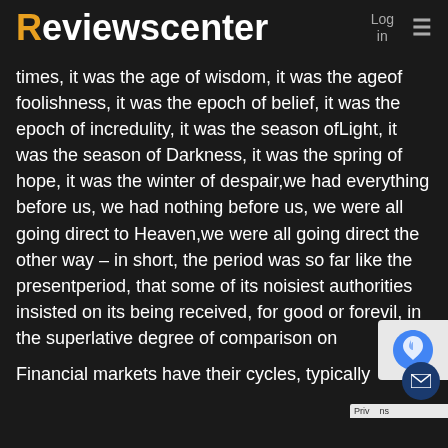Reviewscenter   Log in  ≡
times, it was the age of wisdom, it was the ageof foolishness, it was the epoch of belief, it was the epoch of incredulity, it was the season ofLight, it was the season of Darkness, it was the spring of hope, it was the winter of despair,we had everything before us, we had nothing before us, we were all going direct to Heaven,we were all going direct the other way – in short, the period was so far like the presentperiod, that some of its noisiest authorities insisted on its being received, for good or forevil, in the superlative degree of comparison on
Financial markets have their cycles, typically